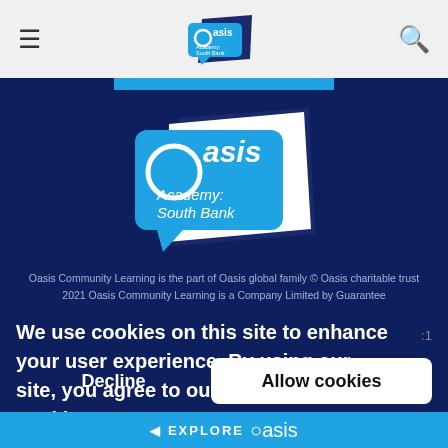Oasis Academy South Bank — navigation header with hamburger menu, logo, and search icon
[Figure (logo): Oasis Academy South Bank logo — blue speech bubble shapes with 'Oasis' in large text and 'Academy: South Bank' in smaller text, white background]
Oasis Community Learning is the part of Oasis global family © Oasis charitable trust
2021 Oasis Community Learning is a Company Limited by Guarantee
We use cookies on this site to enhance your user experience. By using our site, you agree to our use of cookies. Learn more
Decline   Allow cookies
◄ EXPLORE Oasis